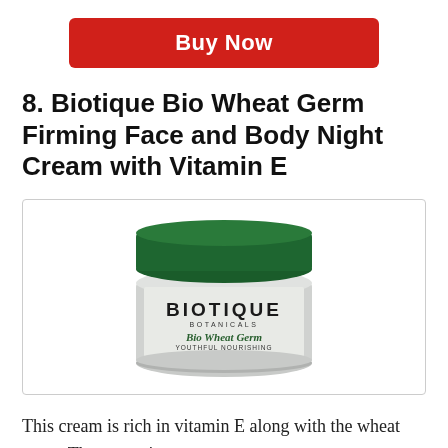Buy Now
8. Biotique Bio Wheat Germ Firming Face and Body Night Cream with Vitamin E
[Figure (photo): Product photo of Biotique Botanicals Bio Wheat Germ Youthful Nourishing Night Cream for Normal to Dry Skin in a white jar with a dark green lid.]
This cream is rich in vitamin E along with the wheat germ. The cream is